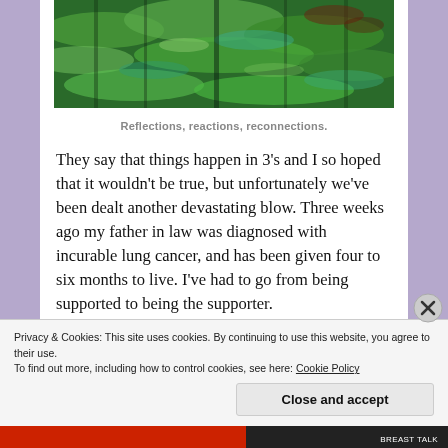[Figure (photo): Nature photo showing green water reflections with rippling patterns and some red/dark tones.]
Reflections, reactions, reconnections.
They say that things happen in 3's and I so hoped that it wouldn't be true, but unfortunately we've been dealt another devastating blow. Three weeks ago my father in law was diagnosed with incurable lung cancer, and has been given four to six months to live. I've had to go from being supported to being the supporter.
Privacy & Cookies: This site uses cookies. By continuing to use this website, you agree to their use.
To find out more, including how to control cookies, see here: Cookie Policy
Close and accept